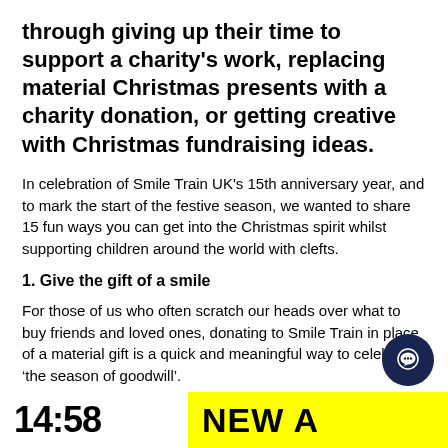through giving up their time to support a charity's work, replacing material Christmas presents with a charity donation, or getting creative with Christmas fundraising ideas.
In celebration of Smile Train UK's 15th anniversary year, and to mark the start of the festive season, we wanted to share 15 fun ways you can get into the Christmas spirit whilst supporting children around the world with clefts.
1. Give the gift of a smile
For those of us who often scratch our heads over what to buy friends and loved ones, donating to Smile Train in place of a material gift is a quick and meaningful way to celebrate ‘the season of goodwill’.
14:58  NEW A